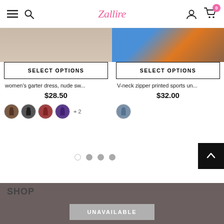Zalliore — navigation bar with hamburger menu, search icon, logo, account icon, cart (0)
[Figure (screenshot): SELECT OPTIONS button and product listing: women's garter dress, nude sw... $28.50 with 4 color swatches + 2]
[Figure (screenshot): SELECT OPTIONS button and product listing: V-neck zipper printed sports un... $32.00 with 1 color swatch]
women's garter dress, nude sw...
$28.50
V-neck zipper printed sports un...
$32.00
+ 2
UNAVAILABLE